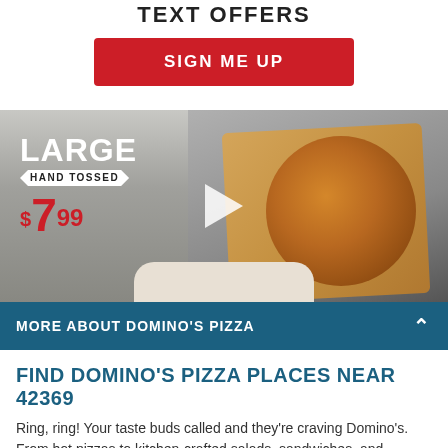TEXT OFFERS
SIGN ME UP
[Figure (photo): A large hand-tossed pizza in an open Domino's box being held, with overlay text reading LARGE HAND TOSSED $7.99 and a play button in the center.]
MORE ABOUT DOMINO'S PIZZA
FIND DOMINO'S PIZZA PLACES NEAR 42369
Ring, ring! Your taste buds called and they're craving Domino's. From hot pizzas to kitchen-crafted salads, sandwiches, and more, you can find a Domino's near 42369 locally. Find